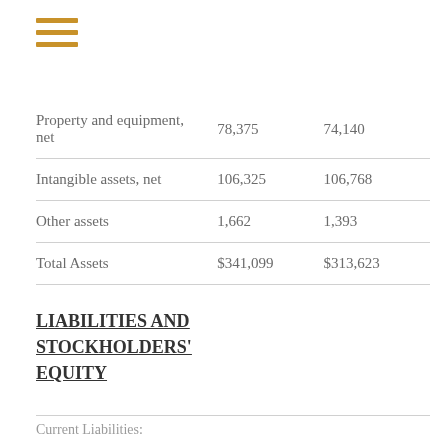|  | Col1 | Col2 |
| --- | --- | --- |
| Property and equipment, net | 78,375 | 74,140 |
| Intangible assets, net | 106,325 | 106,768 |
| Other assets | 1,662 | 1,393 |
| Total Assets | $341,099 | $313,623 |
LIABILITIES AND STOCKHOLDERS' EQUITY
Current Liabilities: